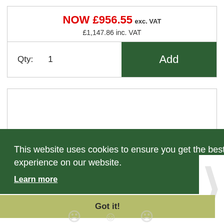NOW £956.55 exc. VAT
£1,147.86 inc. VAT
Qty: 1
Add
This website uses cookies to ensure you get the best experience on our website. Learn more
Got it!